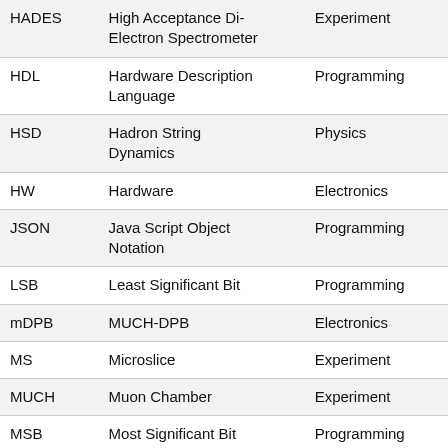| Abbreviation | Full Name | Category |
| --- | --- | --- |
| HADES | High Acceptance Di-Electron Spectrometer | Experiment |
| HDL | Hardware Description Language | Programming |
| HSD | Hadron String Dynamics | Physics |
| HW | Hardware | Electronics |
| JSON | Java Script Object Notation | Programming |
| LSB | Least Significant Bit | Programming |
| mDPB | MUCH-DPB | Electronics |
| MS | Microslice | Experiment |
| MUCH | Muon Chamber | Experiment |
| MSB | Most Significant Bit | Programming |
| MVD | Micro Vertex Detector | Experiment |
| PANDA | antiProton ANnihilation at DArmstadt | Experiment |
| nDPB | PSD-DPB | Electronics |